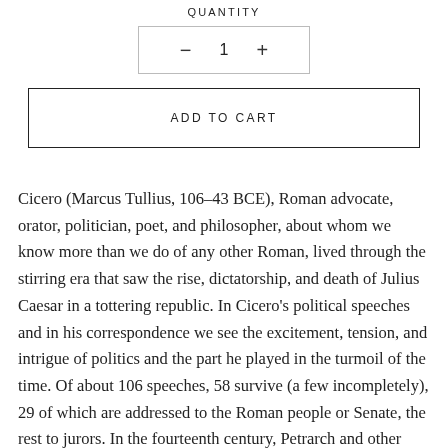QUANTITY
- 1 +
ADD TO CART
Cicero (Marcus Tullius, 106–43 BCE), Roman advocate, orator, politician, poet, and philosopher, about whom we know more than we do of any other Roman, lived through the stirring era that saw the rise, dictatorship, and death of Julius Caesar in a tottering republic. In Cicero's political speeches and in his correspondence we see the excitement, tension, and intrigue of politics and the part he played in the turmoil of the time. Of about 106 speeches, 58 survive (a few incompletely), 29 of which are addressed to the Roman people or Senate, the rest to jurors. In the fourteenth century, Petrarch and other Italian